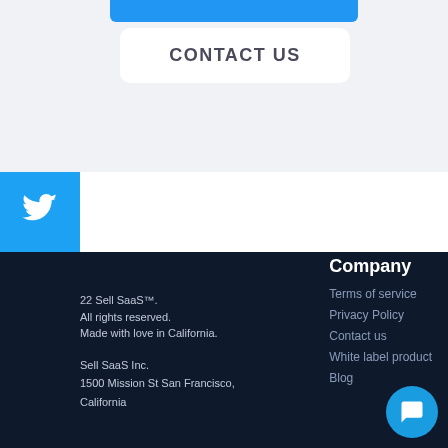CONTACT US
[Figure (infographic): Social media sidebar with Twitter, Facebook, Messenger, and LinkedIn icons]
22 Sell SaaS™. All rights reserved. Made with love in California. Sell SaaS Inc. 1500 Mission St San Francisco, California
Company
Terms of service
Privacy Policy
Contact us
White label product
Blog